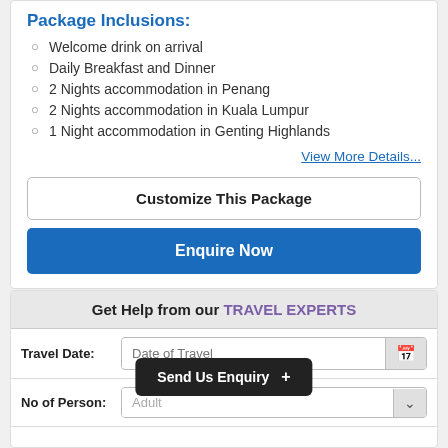Package Inclusions:
Welcome drink on arrival
Daily Breakfast and Dinner
2 Nights accommodation in Penang
2 Nights accommodation in Kuala Lumpur
1 Night accommodation in Genting Highlands
View More Details...
Customize This Package
Enquire Now
Get Help from our TRAVEL EXPERTS
Travel Date: Date of Travel
No of Person: Adult
Send Us Enquiry +